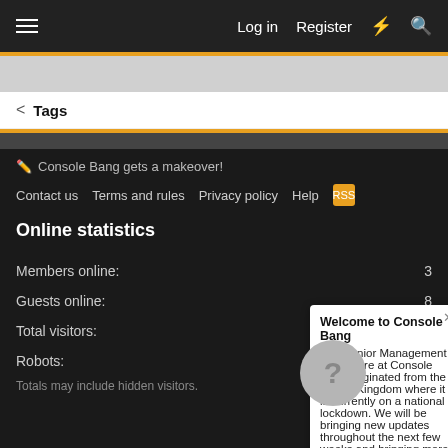Log in  Register
Tags
Console Bang gets a makeover!
Contact us  Terms and rules  Privacy policy  Help
Online statistics
Members online: 3
Guests online: 8
Total visitors: 11
Robots: 59
Totals may include hidden visitors.
Welcome to Console Bang
The Senior Management Team here at Console Bang originated from the United Kingdom where it is currently on a national lockdown. We will be bringing new updates throughout the next few weeks and bringing more content than ever before! We send anyone that is affected by